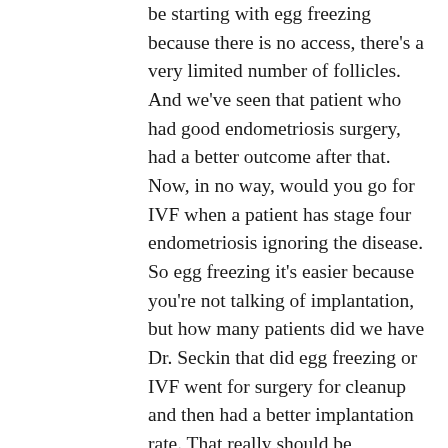be starting with egg freezing because there is no access, there's a very limited number of follicles. And we've seen that patient who had good endometriosis surgery, had a better outcome after that. Now, in no way, would you go for IVF when a patient has stage four endometriosis ignoring the disease. So egg freezing it's easier because you're not talking of implantation, but how many patients did we have Dr. Seckin that did egg freezing or IVF went for surgery for cleanup and then had a better implantation rate. That really should be something that we have to discuss. And without communication with the surgeon and the reproductive endocrinologist, the patient is going to get lost in the shuffle because she's going to get different answers from the IVF doctor and from the endometriosis